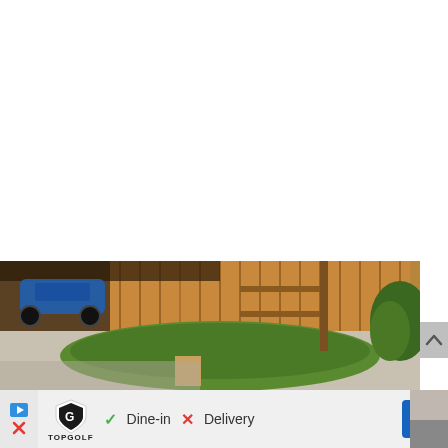[Figure (photo): Outdoor scene showing a blue go-kart/buggy vehicle near a wooden fence structure, with a curved green grass lawn and concrete driveway. Warm afternoon lighting. Wooden fence panels in background.]
[Figure (screenshot): Bottom UI bar showing a Topgolf logo with shield icon, a blue play/ad icon, a green checkmark with 'Dine-in' text, a red X with 'Delivery' text, and a blue diamond navigation arrow icon on the right. Left side shows a small red X icon.]